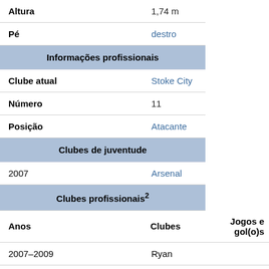| Altura | 1,74 m |
| Pé | destro |
| Informações profissionais |  |
| Clube atual | Stoke City |
| Número | 11 |
| Posição | Atacante |
| Clubes de juventude |  |
| 2007 | Arsenal |
| Clubes profissionais² |  |
| Anos | Clubes | Jogos e gol(o)s |
| 2007–2009 | Ryan |  |
| 2009–2011 | Stansted | 46 | (69) |
| 2011–2013 | Dagenham & | 20 | (7) |
| 2011–2013 | Redbridge | 42 | (29) |